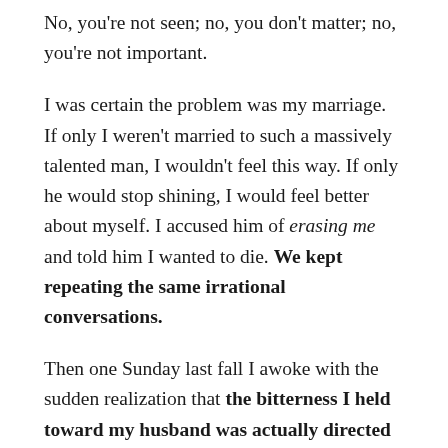No, you're not seen; no, you don't matter; no, you're not important.
I was certain the problem was my marriage. If only I weren't married to such a massively talented man, I wouldn't feel this way. If only he would stop shining, I would feel better about myself. I accused him of erasing me and told him I wanted to die. We kept repeating the same irrational conversations.
Then one Sunday last fall I awoke with the sudden realization that the bitterness I held toward my husband was actually directed at God. None of this was my husband's fault — it was God's. He was the One who hadn't given me the desirable gifts. He was the One who was withholding from me. This was no longer about my